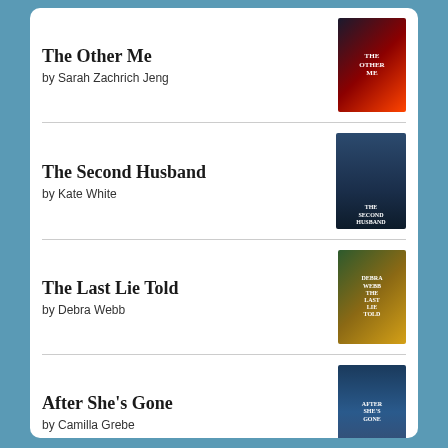The Other Me by Sarah Zachrich Jeng
The Second Husband by Kate White
The Last Lie Told by Debra Webb
After She's Gone by Camilla Grebe
Elevation by Stephen King
goodreads·